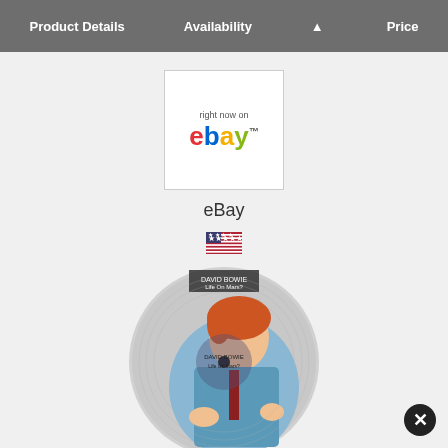| Product Details | Availability | Price |
| --- | --- | --- |
[Figure (logo): eBay logo in white box with 'right now on' text above colored letters e-b-a-y]
eBay
[Figure (illustration): US flag emoji icon]
[Figure (photo): David Bowie Life On Mars 7 inch picture disc vinyl record showing Bowie with red hair in blue jacket]
David Bowie Life On Mars 7" Picture Disc 40th Anniversary New Sealed Mint